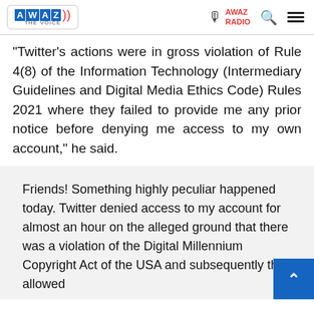AWAZ THE VOICE | AWAZ RADIO
"Twitter's actions were in gross violation of Rule 4(8) of the Information Technology (Intermediary Guidelines and Digital Media Ethics Code) Rules 2021 where they failed to provide me any prior notice before denying me access to my own account," he said.
Friends! Something highly peculiar happened today. Twitter denied access to my account for almost an hour on the alleged ground that there was a violation of the Digital Millennium Copyright Act of the USA and subsequently they allowed